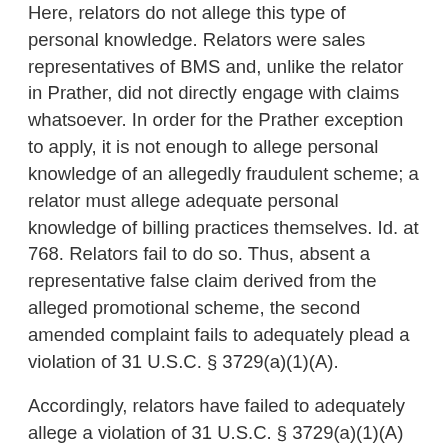Here, relators do not allege this type of personal knowledge. Relators were sales representatives of BMS and, unlike the relator in Prather, did not directly engage with claims whatsoever. In order for the Prather exception to apply, it is not enough to allege personal knowledge of an allegedly fraudulent scheme; a relator must allege adequate personal knowledge of billing practices themselves. Id. at 768. Relators fail to do so. Thus, absent a representative false claim derived from the alleged promotional scheme, the second amended complaint fails to adequately plead a violation of 31 U.S.C. § 3729(a)(1)(A).
Accordingly, relators have failed to adequately allege a violation of 31 U.S.C. § 3729(a)(1)(A) in their second amended complaint.
2.    Section 3729(a)(1)(B), (C) and (G) Claims
In addition to their claims under 31 U.S.C. § 3729(a)(1)(A),